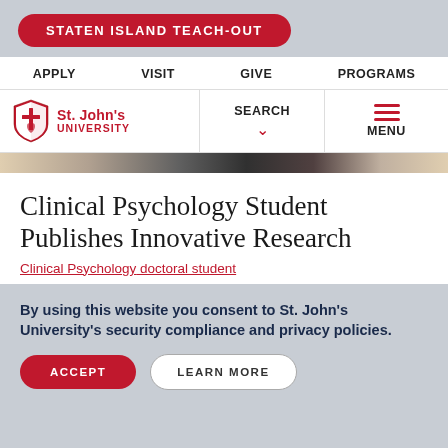STATEN ISLAND TEACH-OUT
APPLY  VISIT  GIVE  PROGRAMS
[Figure (logo): St. John's University shield logo with red text 'ST. JOHN'S UNIVERSITY']
SEARCH  MENU
[Figure (photo): Hero image strip showing a person partially visible in dark clothing]
Clinical Psychology Student Publishes Innovative Research
Clinical Psychology doctoral student
By using this website you consent to St. John's University's security compliance and privacy policies.
ACCEPT  LEARN MORE